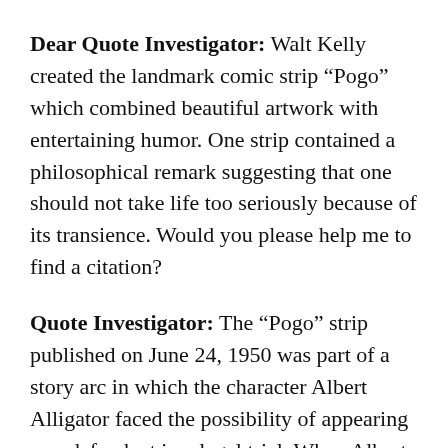Dear Quote Investigator: Walt Kelly created the landmark comic strip “Pogo” which combined beautiful artwork with entertaining humor. One strip contained a philosophical remark suggesting that one should not take life too seriously because of its transience. Would you please help me to find a citation?
Quote Investigator: The “Pogo” strip published on June 24, 1950 was part of a story arc in which the character Albert Alligator faced the possibility of appearing as a defendant in a legal trial. When Albert saw a gallows-like structure being built he fainted. The first line below is spoken by the porcupine character named Porky Pine who is propping up the body of the unconscious Albert. The second line is spoken by a squirrel character who is building the ominous structure, and the